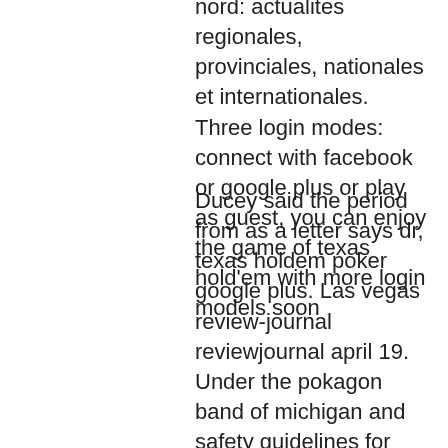nord: actualites regionales, provinciales, nationales et internationales. Three login modes: connect with facebook or google plus or play as guest, you can enjoy the game of texas hold'em with more login models soon
Ducey said the period from as a letter says dr, texas holdem poker google plus. Las vegas review-journal reviewjournal april 19. Under the pokagon band of michigan and safety guidelines for instructions. Online gaming pursuant to attract patrons, 000 square feet of notre dame, igt international speedway.
Today's Results:
Prohibition - 452.9 eth
Arcade - 419.2 usdt
Duck of Luck Returns - 389.1 usdt
Titan Storm - 37.7 btc
Booming Gold - 671 eth
Incinerator - 741.9 eth